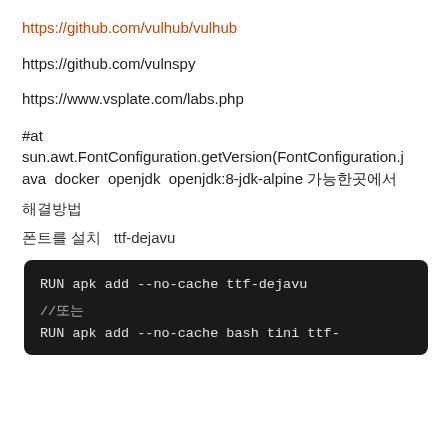https://github.com/vulhub/vulhub
https://github.com/vulnspy
https://www.vsplate.com/labs.php
#at sun.awt.FontConfiguration.getVersion(FontConfiguration.java docker openjdk openjdk:8-jdk-alpine 에서
해결방법
폰트를 설치   ttf-dejavu
[Figure (screenshot): Code block on dark background showing: RUN apk add --no-cache ttf-dejavu

//또는
RUN apk add --no-cache bash tini ttf-]